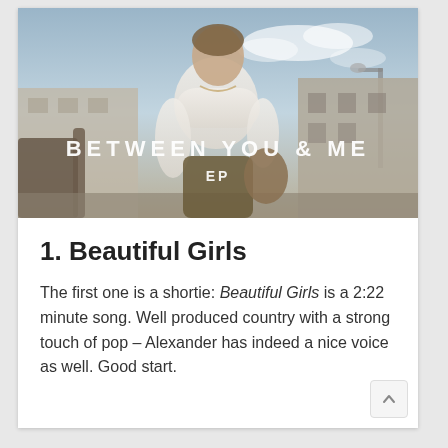[Figure (photo): Album cover photo for 'Between You & Me EP' showing a man in a white t-shirt leaning against a vehicle with buildings in the background. Text overlay reads 'BETWEEN YOU & ME EP'.]
1. Beautiful Girls
The first one is a shortie: Beautiful Girls is a 2:22 minute song. Well produced country with a strong touch of pop – Alexander has indeed a nice voice as well. Good start.